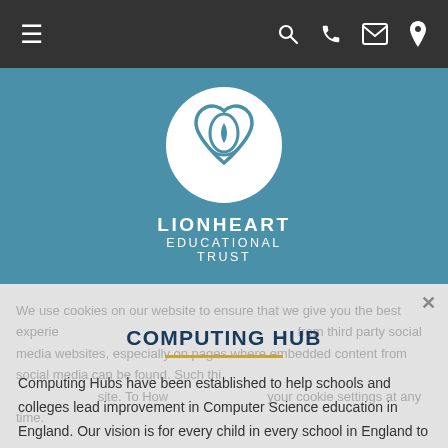Navigation bar with hamburger menu, search, phone, mail, and location icons
[Figure (logo): Lionheart Educational Trust logo — white circle with heart/eye motif on blue background, with text LIONHEART EDUCATIONAL TRUST below]
We use cookies on our website to ensure that we give you the best experience on our website. We also use cookies from third party social media websites, especially on pages where embedded content from social media can be found. Such things cannot be achieved without your consent. To consent, please click 'accept' below. How you can change your cookie settings at any time.
COMPUTING HUB
Computing Hubs have been established to help schools and colleges lead improvement in Computer Science education in England. Our vision is for every child in every school in England to have a world-leading computing education.